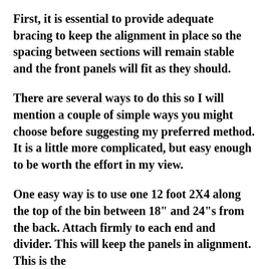First, it is essential to provide adequate bracing to keep the alignment in place so the spacing between sections will remain stable and the front panels will fit as they should.
There are several ways to do this so I will mention a couple of simple ways you might choose before suggesting my preferred method. It is a little more complicated, but easy enough to be worth the effort in my view.
One easy way is to use one 12 foot 2X4 along the top of the bin between 18" and 24"s from the back. Attach firmly to each end and divider. This will keep the panels in alignment. This is the